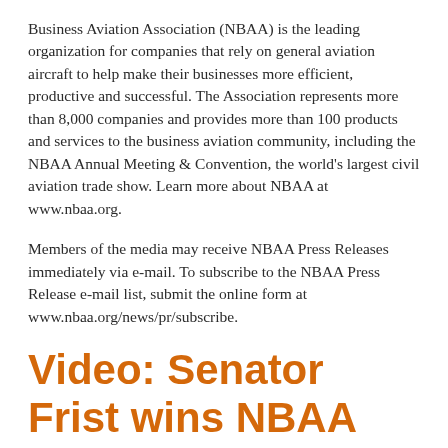Business Aviation Association (NBAA) is the leading organization for companies that rely on general aviation aircraft to help make their businesses more efficient, productive and successful. The Association represents more than 8,000 companies and provides more than 100 products and services to the business aviation community, including the NBAA Annual Meeting & Convention, the world's largest civil aviation trade show. Learn more about NBAA at www.nbaa.org.
Members of the media may receive NBAA Press Releases immediately via e-mail. To subscribe to the NBAA Press Release e-mail list, submit the online form at www.nbaa.org/news/pr/subscribe.
Video: Senator Frist wins NBAA 2011